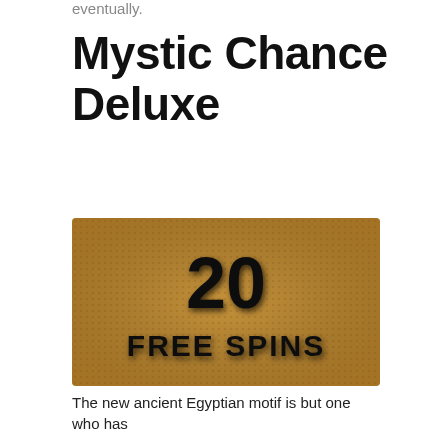eventually.
Mystic Chance Deluxe
[Figure (illustration): Promotional banner image with a golden/bronze dotted textured background showing '20 FREE SPINS' text in large bold black letters with a shadow effect, advertising a casino slot game promotion.]
The new ancient Egyptian motif is but one who has